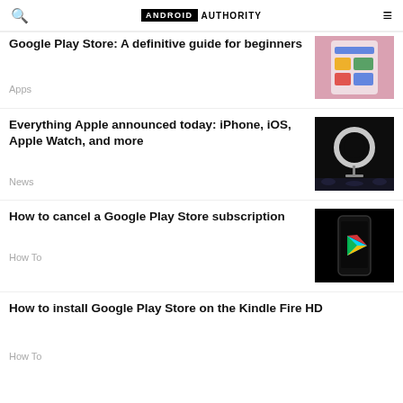Android Authority
Google Play Store: A definitive guide for beginners
Apps
[Figure (screenshot): Hand holding a phone showing Google Play Store app listings]
Everything Apple announced today: iPhone, iOS, Apple Watch, and more
News
[Figure (photo): Apple ring light / product reveal on dark stage background]
How to cancel a Google Play Store subscription
How To
[Figure (photo): Google Play Store logo on a black phone on dark background]
How to install Google Play Store on the Kindle Fire HD
How To